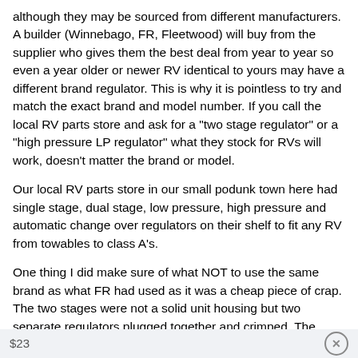although they may be sourced from different manufacturers. A builder (Winnebago, FR, Fleetwood) will buy from the supplier who gives them the best deal from year to year so even a year older or newer RV identical to yours may have a different brand regulator. This is why it is pointless to try and match the exact brand and model number. If you call the local RV parts store and ask for a "two stage regulator" or a "high pressure LP regulator" what they stock for RVs will work, doesn't matter the brand or model.
Our local RV parts store in our small podunk town here had single stage, dual stage, low pressure, high pressure and automatic change over regulators on their shelf to fit any RV from towables to class A's.
One thing I did make sure of what NOT to use the same brand as what FR had used as it was a cheap piece of crap. The two stages were not a solid unit housing but two separate regulators plugged together and crimped. The union between the two failed and allowed the leak on our rig. Lost a whole tank of propane into our garage in one night! No way did I want another one of those. I bought a better dual stage regulator to replace the factory original at the supplier for
$23